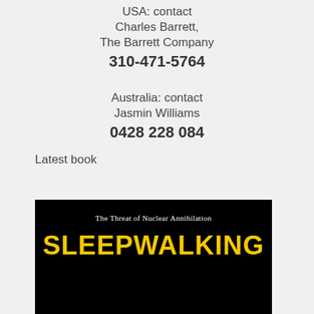USA: contact Charles Barrett, The Barrett Company 310-471-5764
Australia: contact Jasmin Williams 0428 228 084
Latest book
[Figure (photo): Book cover with black background, subtitle 'The Threat of Nuclear Annihilation' in white, and title 'SLEEPWALKING' in large yellow bold text]